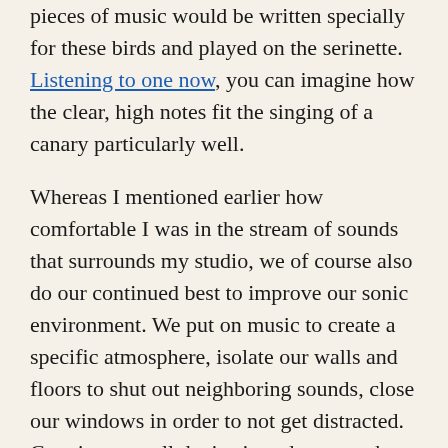pieces of music would be written specially for these birds and played on the serinette. Listening to one now, you can imagine how the clear, high notes fit the singing of a canary particularly well.
Whereas I mentioned earlier how comfortable I was in the stream of sounds that surrounds my studio, we of course also do our continued best to improve our sonic environment. We put on music to create a specific atmosphere, isolate our walls and floors to shut out neighboring sounds, close our windows in order to not get distracted. Creating a small device in order to teach a canary to sing a specific song seems to similarly belong to this tendency. Sound and noise activate us; both their absence and presence make us feel things and force us to pay attention. Hopefully these few paragraphs of (mostly) silent text have made you just a bit more aware of your personal